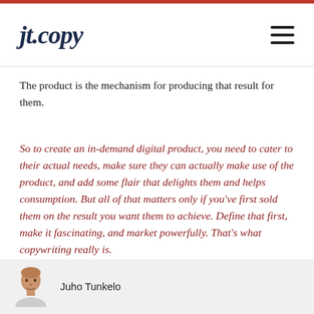jt.copy
The product is the mechanism for producing that result for them.
So to create an in-demand digital product, you need to cater to their actual needs, make sure they can actually make use of the product, and add some flair that delights them and helps consumption. But all of that matters only if you've first sold them on the result you want them to achieve. Define that first, make it fascinating, and market powerfully. That's what copywriting really is.
Juho Tunkelo